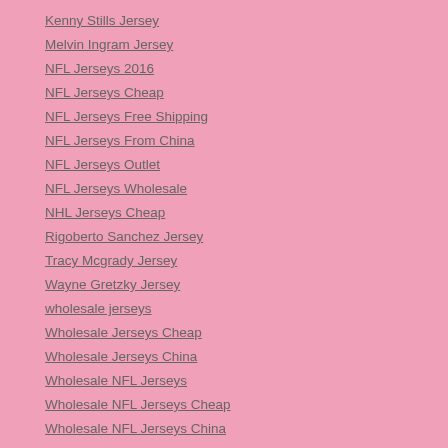Kenny Stills Jersey
Melvin Ingram Jersey
NFL Jerseys 2016
NFL Jerseys Cheap
NFL Jerseys Free Shipping
NFL Jerseys From China
NFL Jerseys Outlet
NFL Jerseys Wholesale
NHL Jerseys Cheap
Rigoberto Sanchez Jersey
Tracy Mcgrady Jersey
Wayne Gretzky Jersey
wholesale jerseys
Wholesale Jerseys Cheap
Wholesale Jerseys China
Wholesale NFL Jerseys
Wholesale NFL Jerseys Cheap
Wholesale NFL Jerseys China
Wholesale NFL Jerseys Free Shipping